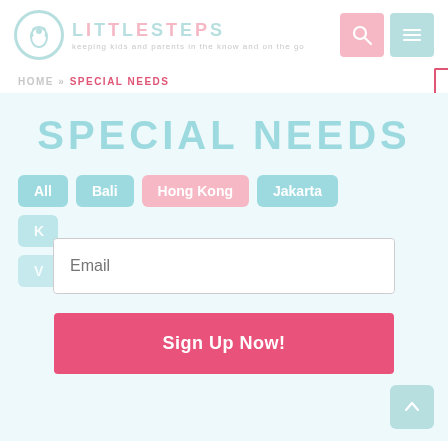[Figure (logo): Little Steps logo with footprint icon in teal circle, text LITTLESTEPS in teal and pink, tagline 'keeping kids and parents in the know and on the go']
HOME » SPECIAL NEEDS
SPECIAL NEEDS
All
Bali
Hong Kong
Jakarta
Email
Sign Up Now!